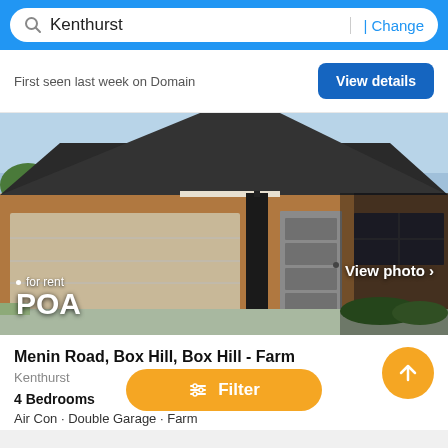Kenthurst | Change
First seen last week on Domain
View details
[Figure (photo): Exterior photo of a modern single-story brick house with dark grey roof, double garage, and landscaped front yard. Overlaid text: 'for rent' and 'POA'. Button overlay: 'View photo >']
Menin Road, Box Hill, Box Hill - Farm
Kenthurst
4 Bedrooms
Filter
Air Con · Double Garage · Farm